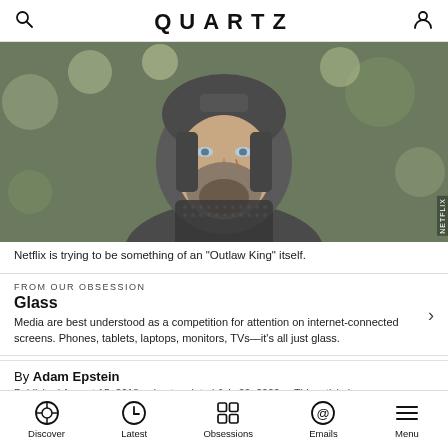QUARTZ
[Figure (photo): Close-up portrait of a bearded man wearing medieval chainmail and a metal helmet, with a bokeh forest background. From Netflix film 'Outlaw King'.]
Netflix is trying to be something of an "Outlaw King" itself.
FROM OUR OBSESSION
Glass
Media are best understood as a competition for attention on internet-connected screens. Phones, tablets, laptops, monitors, TVs—it's all just glass.
By Adam Epstein
Published August 15, 2018 · Last updated July 20, 2022 · This article is more
Discover | Latest | Obsessions | Emails | Menu